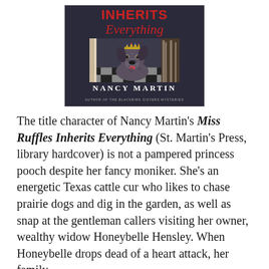[Figure (illustration): Book cover of 'Miss Ruffles Inherits Everything — a mystery' by Nancy Martin, author of the Blackbird Sisters Mysteries. The cover shows a dog wearing a tiara on a black-and-white checkered floor near a staircase banister.]
The title character of Nancy Martin's Miss Ruffles Inherits Everything (St. Martin's Press, library hardcover) is not a pampered princess pooch despite her fancy moniker. She's an energetic Texas cattle cur who likes to chase prairie dogs and dig in the garden, as well as snap at the gentleman callers visiting her owner, wealthy widow Honeybelle Hensley. When Honeybelle drops dead of a heart attack, her family